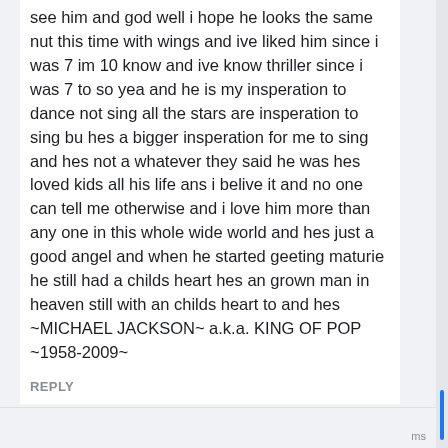see him and god well i hope he looks the same nut this time with wings and ive liked him since i was 7 im 10 know and ive know thriller since i was 7 to so yea and he is my insperation to dance not sing all the stars are insperation to sing bu hes a bigger insperation for me to sing and hes not a whatever they said he was hes loved kids all his life ans i belive it and no one can tell me otherwise and i love him more than any one in this whole wide world and hes just a good angel and when he started geeting maturie he still had a childs heart hes an grown man in heaven still with an childs heart to and hes ~MICHAEL JACKSON~ a.k.a. KING OF POP ~1958-2009~
REPLY